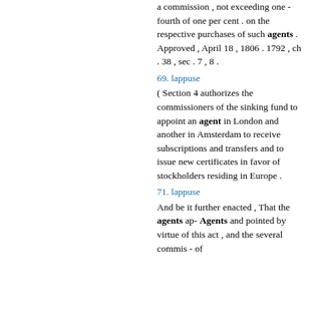a commission , not exceeding one - fourth of one per cent . on the respective purchases of such agents . Approved , April 18 , 1806 . 1792 , ch . 38 , sec . 7 , 8 .
69. lappuse
( Section 4 authorizes the commissioners of the sinking fund to appoint an agent in London and another in Amsterdam to receive subscriptions and transfers and to issue new certificates in favor of stockholders residing in Europe .
71. lappuse
And be it further enacted , That the agents ap- Agents and pointed by virtue of this act , and the several commis - of